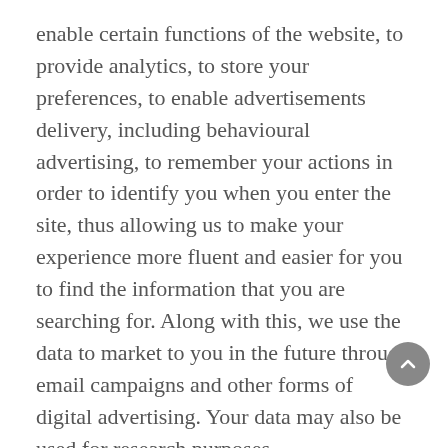enable certain functions of the website, to provide analytics, to store your preferences, to enable advertisements delivery, including behavioural advertising, to remember your actions in order to identify you when you enter the site, thus allowing us to make your experience more fluent and easier for you to find the information that you are searching for. Along with this, we use the data to market to you in the future through email campaigns and other forms of digital advertising. Your data may also be used for research purposes.
We use both session and persistent cookies on the Service and we use different types of cookies to run the Service: